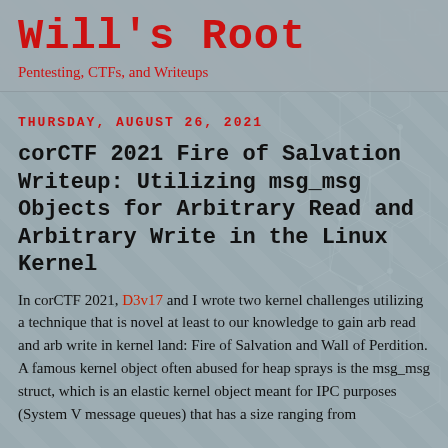Will's Root
Pentesting, CTFs, and Writeups
THURSDAY, AUGUST 26, 2021
corCTF 2021 Fire of Salvation Writeup: Utilizing msg_msg Objects for Arbitrary Read and Arbitrary Write in the Linux Kernel
In corCTF 2021, D3v17 and I wrote two kernel challenges utilizing a technique that is novel at least to our knowledge to gain arb read and arb write in kernel land: Fire of Salvation and Wall of Perdition. A famous kernel object often abused for heap sprays is the msg_msg struct, which is an elastic kernel object meant for IPC purposes (System V message queues) that has a size ranging from